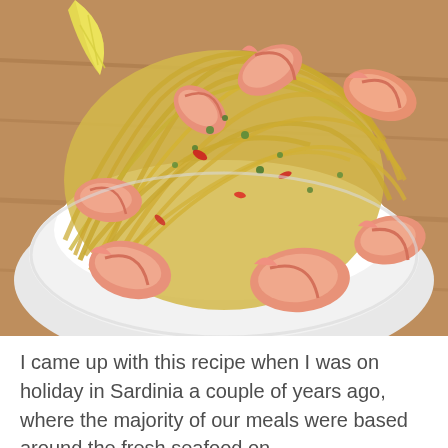[Figure (photo): A white bowl filled with linguine pasta and large cooked shrimp/prawns, garnished with chopped herbs, red chili pieces, and a lemon wedge, placed on a wooden surface.]
I came up with this recipe when I was on holiday in Sardinia a couple of years ago, where the majority of our meals were based around the fresh seafood on...